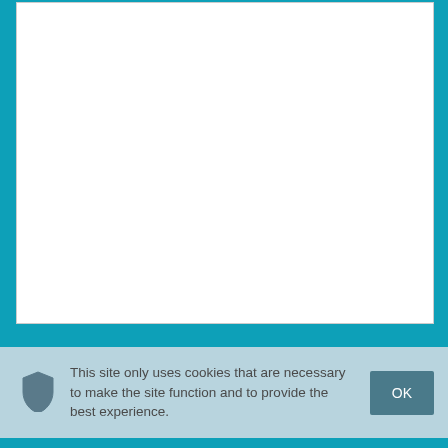[Figure (screenshot): White content area on teal/blue background, representing a webpage screenshot with a cookie consent banner at the bottom.]
This site only uses cookies that are necessary to make the site function and to provide the best experience.